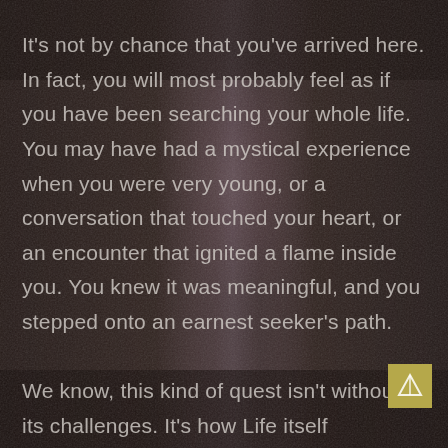[Figure (photo): Dark textured stone or rock background with a lighter vertical stripe or ridge running from top to bottom center, giving a moody, contemplative atmosphere.]
It's not by chance that you've arrived here. In fact, you will most probably feel as if you have been searching your whole life. You may have had a mystical experience when you were very young, or a conversation that touched your heart, or an encounter that ignited a flame inside you. You knew it was meaningful, and you stepped onto an earnest seeker's path.

We know, this kind of quest isn't without its challenges. It's how Life itself strengthens and